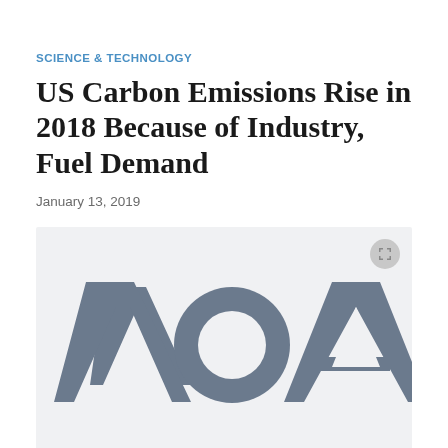SCIENCE & TECHNOLOGY
US Carbon Emissions Rise in 2018 Because of Industry, Fuel Demand
January 13, 2019
[Figure (logo): VOA (Voice of America) logo in grey on a light grey background, with an expand/fullscreen button in the top-right corner]